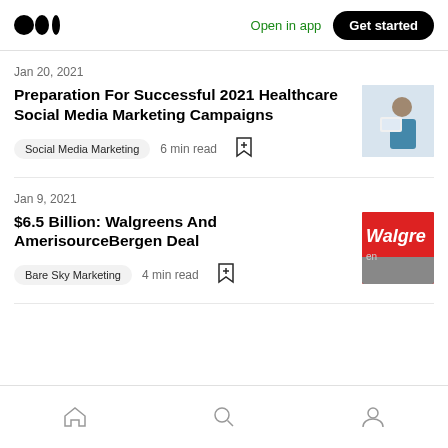Medium logo | Open in app | Get started
Jan 20, 2021
Preparation For Successful 2021 Healthcare Social Media Marketing Campaigns
Social Media Marketing  6 min read
Jan 9, 2021
$6.5 Billion: Walgreens And AmerisourceBergen Deal
Bare Sky Marketing  4 min read
Home | Search | Profile